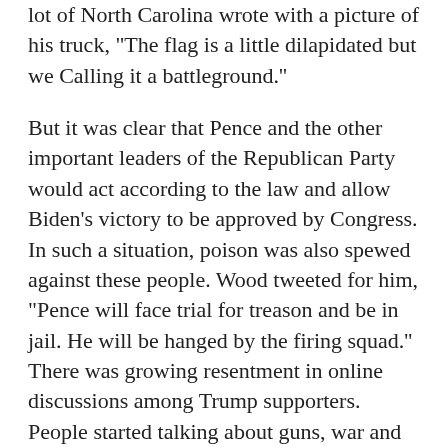lot of North Carolina wrote with a picture of his truck, "The flag is a little dilapidated but we Calling it a battleground."
But it was clear that Pence and the other important leaders of the Republican Party would act according to the law and allow Biden's victory to be approved by Congress. In such a situation, poison was also spewed against these people. Wood tweeted for him, "Pence will face trial for treason and be in jail. He will be hanged by the firing squad." There was growing resentment in online discussions among Trump supporters. People started talking about guns, war and violence.
Such things were present in other places besides social platforms like Gab and Parlor popular with Trump supporters. At first the members of the Proud Boys were writing against the police